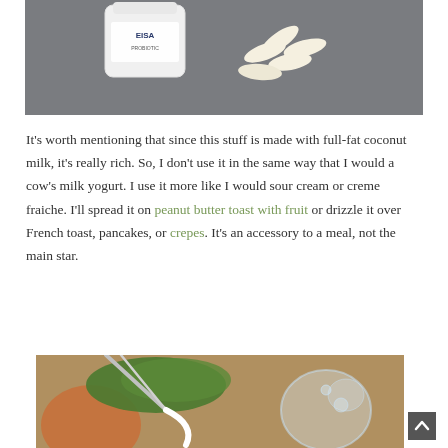[Figure (photo): White supplement/probiotic pill bottle tipped on its side with several white capsules spilled out onto a gray surface]
It's worth mentioning that since this stuff is made with full-fat coconut milk, it's really rich. So, I don't use it in the same way that I would a cow's milk yogurt. I use it more like I would sour cream or creme fraiche. I'll spread it on peanut butter toast with fruit or drizzle it over French toast, pancakes, or crepes. It's an accessory to a meal, not the main star.
[Figure (photo): Hands holding tongs or tweezers over a glass jar with green herbs/microgreens, food preparation scene]